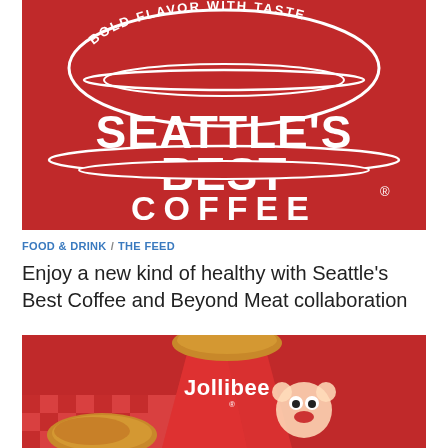[Figure (logo): Seattle's Best Coffee logo on red background with text 'BOLD FLAVOR WITH TASTE' in circular arc and 'COFFEE' at bottom]
FOOD & DRINK / THE FEED
Enjoy a new kind of healthy with Seattle's Best Coffee and Beyond Meat collaboration
[Figure (photo): Jollibee branded red bucket filled with fried chicken pieces on a red checkered tablecloth background]